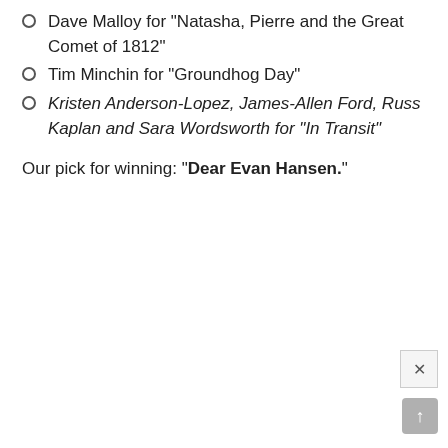Dave Malloy for “Natasha, Pierre and the Great Comet of 1812”
Tim Minchin for “Groundhog Day”
Kristen Anderson-Lopez, James-Allen Ford, Russ Kaplan and Sara Wordsworth for “In Transit”
Our pick for winning: “Dear Evan Hansen.”